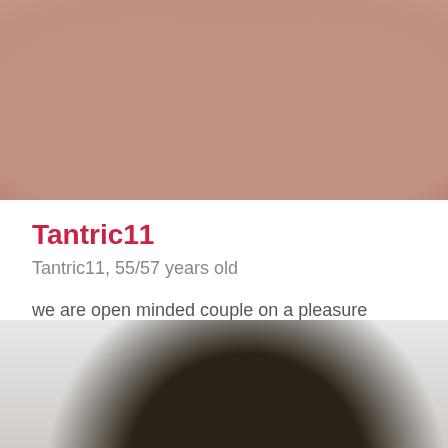[Figure (photo): Close-up photo of human skin/torso, warm skin tones, partially cropped at top of page]
Tantric11
Tantric11, 55/57 years old
we are open minded couple on a pleasure journey with other couples
London, On, Canada
[Figure (photo): Black and white photo, partially visible at bottom of page, showing dark object/figure]